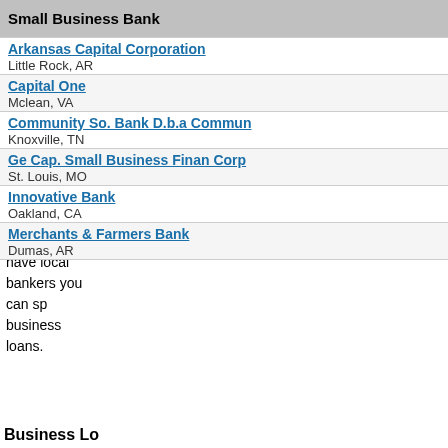| Small Business Bank |
| --- |
| Commercial Bank |
| Portland Bank |
| Simmons 1st Bank - So. Arkansas |
| Simmons First Bank of South Arkansas |
| Union Bank & Trust Company |
Lenders for Monticello Businesses
Be sure to speak with bankers outside of Monticello, A... table below, have lent to other Monticello small busine... these large banks may have local bankers you can sp... business loans.
| Small Business Bank |
| --- |
| Arkansas Capital Corporation | Little Rock, AR |
| Capital One | Mclean, VA |
| Community So. Bank D.b.a Commun | Knoxville, TN |
| Ge Cap. Small Business Finan Corp | St. Louis, MO |
| Innovative Bank | Oakland, CA |
| Merchants & Farmers Bank | Dumas, AR |
Business Loan Advice for Monticello Businesses